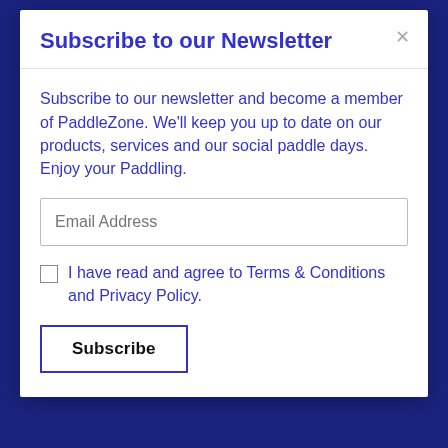Subscribe to our Newsletter
Subscribe to our newsletter and become a member of PaddleZone. We'll keep you up to date on our products, services and our social paddle days. Enjoy your Paddling.
Email Address
I have read and agree to Terms & Conditions and Privacy Policy.
Subscribe
Service
My Account